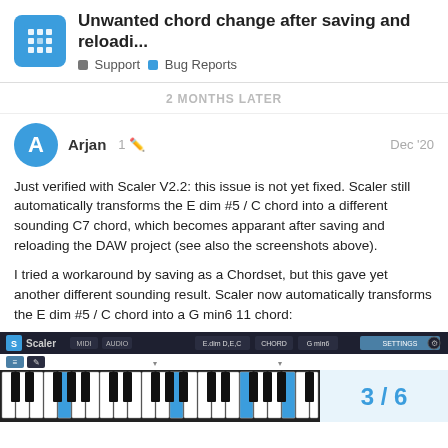Unwanted chord change after saving and reloadi... | Support | Bug Reports
2 MONTHS LATER
Arjan  1  Dec '20
Just verified with Scaler V2.2: this issue is not yet fixed. Scaler still automatically transforms the E dim #5 / C chord into a different sounding C7 chord, which becomes apparant after saving and reloading the DAW project (see also the screenshots above).
I tried a workaround by saving as a Chordset, but this gave yet another different sounding result. Scaler now automatically transforms the E dim #5 / C chord into a G min6 11 chord:
[Figure (screenshot): Screenshot of Scaler plugin interface showing a piano keyboard and toolbar with pagination showing 3/6]